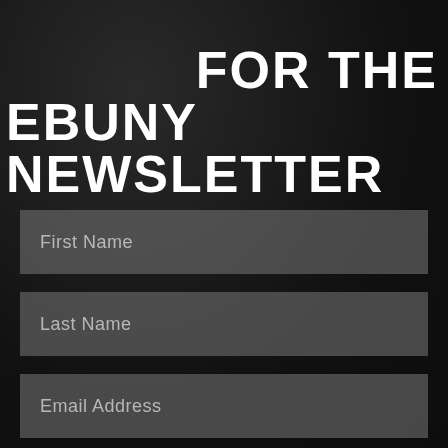FOR THE EBUNY NEWSLETTER
First Name
Last Name
Email Address